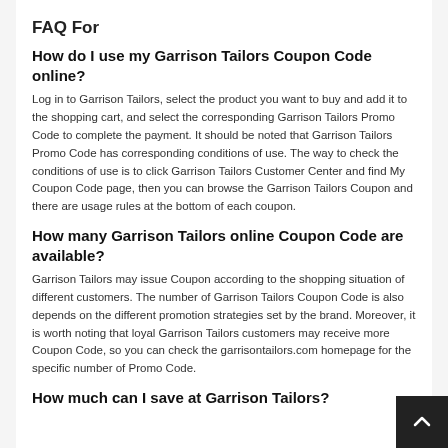FAQ For
How do I use my Garrison Tailors Coupon Code online?
Log in to Garrison Tailors, select the product you want to buy and add it to the shopping cart, and select the corresponding Garrison Tailors Promo Code to complete the payment. It should be noted that Garrison Tailors Promo Code has corresponding conditions of use. The way to check the conditions of use is to click Garrison Tailors Customer Center and find My Coupon Code page, then you can browse the Garrison Tailors Coupon and there are usage rules at the bottom of each coupon.
How many Garrison Tailors online Coupon Code are available?
Garrison Tailors may issue Coupon according to the shopping situation of different customers. The number of Garrison Tailors Coupon Code is also depends on the different promotion strategies set by the brand. Moreover, it is worth noting that loyal Garrison Tailors customers may receive more Coupon Code, so you can check the garrisontailors.com homepage for the specific number of Promo Code.
How much can I save at Garrison Tailors?